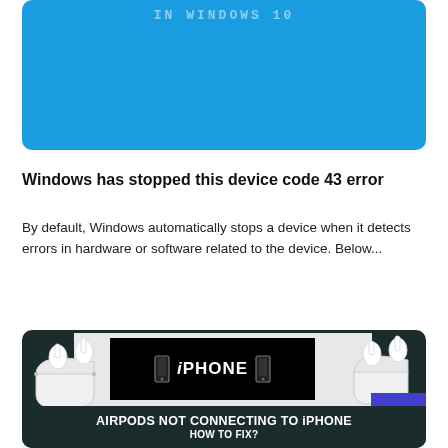[Figure (screenshot): Blue banner image at the top of a tech troubleshooting article page]
Windows has stopped this device code 43 error
By default, Windows automatically stops a device when it detects errors in hardware or software related to the device. Below...
[Figure (photo): Dark card showing AirPods on left and right with an iPhone branded center banner. Bottom text reads AIRPODS NOT CONNECTING TO iPHONE HOW TO FIX?]